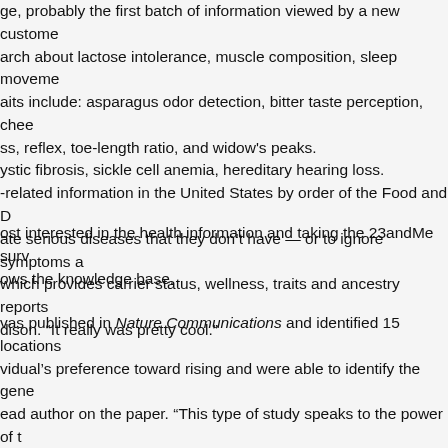ge, probably the first batch of information viewed by a new customer. arch about lactose intolerance, muscle composition, sleep movemer. aits include: asparagus odor detection, bitter taste perception, cheek ss, reflex, toe-length ratio, and widow's peaks. ystic fibrosis, sickle cell anemia, hereditary hearing loss. -related information in the United States by order of the Food and D ate serious diseases that they don't have — or to ignore symptoms a which provides carrier status, wellness, traits and ancestry reports dison. "It really was pretty cool."
ost interested in the health information and taking the 23andMe surv ows the knowledge base.
vas published in Nature Communications and identified 15 locations vidual's preference toward rising and were able to identify the genet ead author on the paper. "This type of study speaks to the power of t ow) how those genetic factors are affected by behavior and environm even of the loci associated with "morningness" are near genes previo ed considered themselves night owls. Women and adults over age ours of sleep each day.